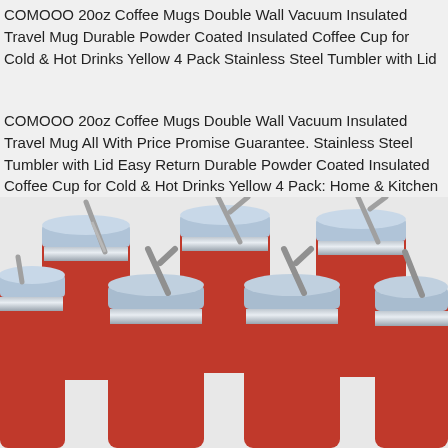COMOOO 20oz Coffee Mugs Double Wall Vacuum Insulated Travel Mug Durable Powder Coated Insulated Coffee Cup for Cold & Hot Drinks Yellow 4 Pack Stainless Steel Tumbler with Lid
COMOOO 20oz Coffee Mugs Double Wall Vacuum Insulated Travel Mug All With Price Promise Guarantee. Stainless Steel Tumbler with Lid Easy Return Durable Powder Coated Insulated Coffee Cup for Cold & Hot Drinks Yellow 4 Pack: Home & Kitchen
[Figure (photo): Six red stainless steel insulated tumblers with clear lids and metal straws, arranged in two rows of three, on a light gray background.]